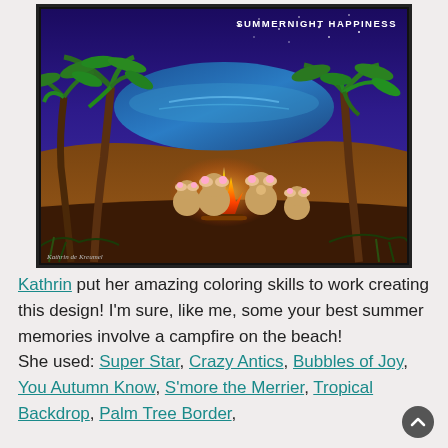[Figure (illustration): A colorful night beach scene illustration titled 'SUMMERNIGHT HAPPINESS' showing cartoon mice/koalas gathered around a campfire on a sandy beach at night, with palm trees, a lake or ocean in the background, and a starry purple sky. The image has a black border and a signature 'Kathrin de Kreumel' in the bottom left corner.]
Kathrin put her amazing coloring skills to work creating this design! I'm sure, like me, some your best summer memories involve a campfire on the beach! She used: Super Star, Crazy Antics, Bubbles of Joy, You Autumn Know, S'more the Merrier, Tropical Backdrop, Palm Tree Border,